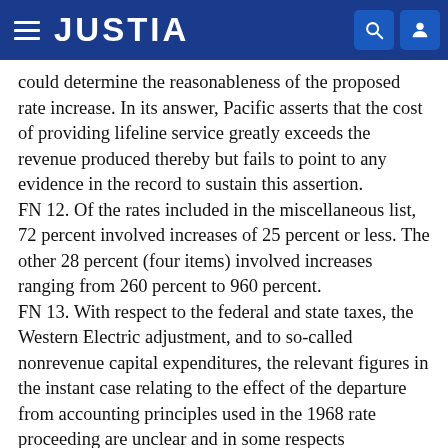JUSTIA
could determine the reasonableness of the proposed rate increase. In its answer, Pacific asserts that the cost of providing lifeline service greatly exceeds the revenue produced thereby but fails to point to any evidence in the record to sustain this assertion.
FN 12. Of the rates included in the miscellaneous list, 72 percent involved increases of 25 percent or less. The other 28 percent (four items) involved increases ranging from 260 percent to 960 percent.
FN 13. With respect to the federal and state taxes, the Western Electric adjustment, and to so-called nonrevenue capital expenditures, the relevant figures in the instant case relating to the effect of the departure from accounting principles used in the 1968 rate proceeding are unclear and in some respects conflicting. Nevertheless, some of those figures which seem reliable